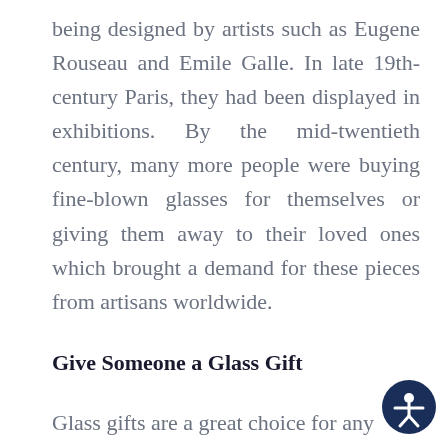being designed by artists such as Eugene Rouseau and Emile Galle. In late 19th-century Paris, they had been displayed in exhibitions. By the mid-twentieth century, many more people were buying fine-blown glasses for themselves or giving them away to their loved ones which brought a demand for these pieces from artisans worldwide.
Give Someone a Glass Gift
Glass gifts are a great choice for any